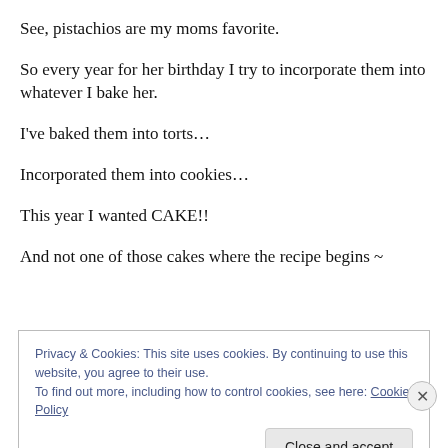See, pistachios are my moms favorite.
So every year for her birthday I try to incorporate them into whatever I bake her.
I've baked them into torts…
Incorporated them into cookies…
This year I wanted CAKE!!
And not one of those cakes where the recipe begins ~
Privacy & Cookies: This site uses cookies. By continuing to use this website, you agree to their use.
To find out more, including how to control cookies, see here: Cookie Policy
Close and accept